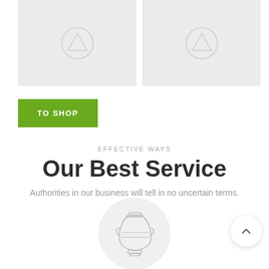[Figure (illustration): Two gray placeholder image boxes side by side, each with a tree/arrow-up circle icon in the center]
TO SHOP
EFFECTIVE WAYS
Our Best Service
Authorities in our business will tell in no uncertain terms.
[Figure (illustration): Gray circle with a vase/amphora icon inside, and a back-to-top button (chevron up) in the bottom right]